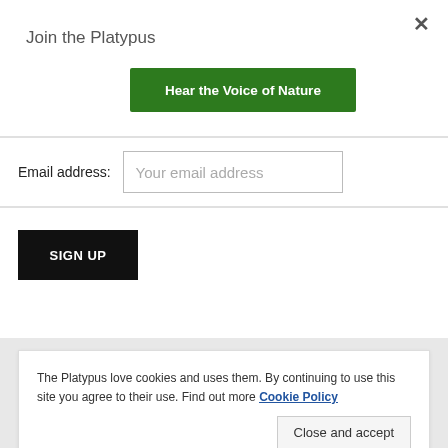Join the Platypus
Hear the Voice of Nature
Email address:
Your email address
SIGN UP
The Platypus love cookies and uses them. By continuing to use this site you agree to their use. Find out more Cookie Policy
Close and accept